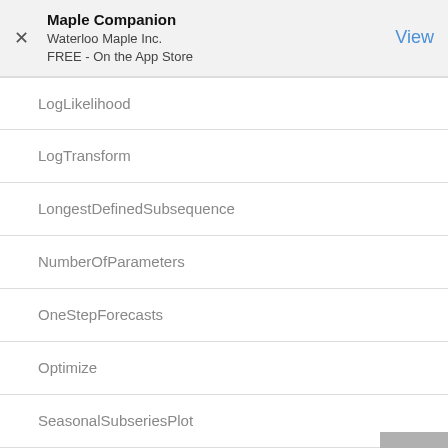Maple Companion
Waterloo Maple Inc.
FREE - On the App Store
LogLikelihood
LogTransform
LongestDefinedSubsequence
NumberOfParameters
OneStepForecasts
Optimize
SeasonalSubseriesPlot
SetParameter
Specialize